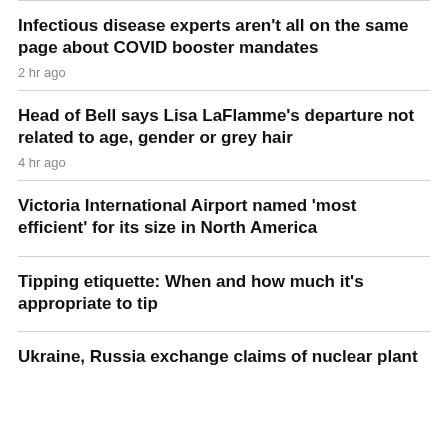Infectious disease experts aren't all on the same page about COVID booster mandates
2 hr ago
Head of Bell says Lisa LaFlamme's departure not related to age, gender or grey hair
4 hr ago
Victoria International Airport named 'most efficient' for its size in North America
Tipping etiquette: When and how much it's appropriate to tip
Ukraine, Russia exchange claims of nuclear plant